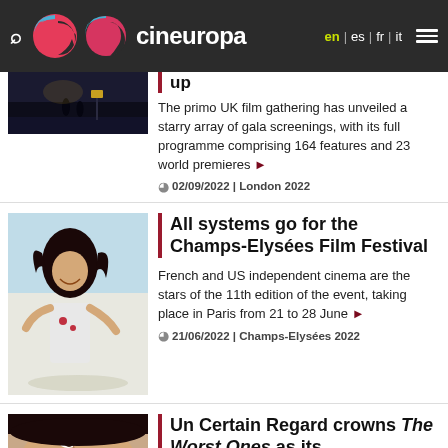cineuropa — en | es | fr | it
[Figure (screenshot): Dark nighttime scene with two silhouettes near a traffic sign]
up
The primo UK film gathering has unveiled a starry array of gala screenings, with its full programme comprising 164 features and 23 world premieres
02/09/2022 | London 2022
[Figure (photo): Girl with hair blowing, smiling, wearing white shirt, outdoor scene]
All systems go for the Champs-Elysées Film Festival
French and US independent cinema are the stars of the 11th edition of the event, taking place in Paris from 21 to 28 June
21/06/2022 | Champs-Elysées 2022
[Figure (photo): Close-up of a woman's face]
Un Certain Regard crowns The Worst Ones as its